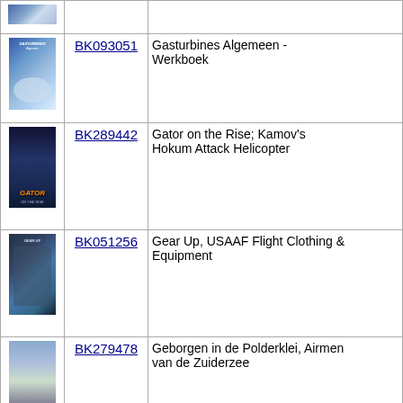| Image | Code | Title |
| --- | --- | --- |
| [image] | BK093051 | Gasturbines Algemeen - Werkboek |
| [image] | BK289442 | Gator on the Rise; Kamov's Hokum Attack Helicopter |
| [image] | BK051256 | Gear Up, USAAF Flight Clothing & Equipment |
| [image] | BK279478 | Geborgen in de Polderklei, Airmen van de Zuiderzee |
| [image] | BK290815 | Geborgen in de Polderklei, Airmen... |